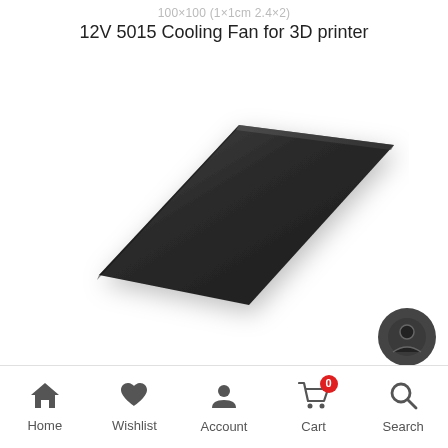12V 5015 Cooling Fan for 3D printer
[Figure (photo): Product photo of a dark matte square flat plate or sheet, photographed on a white background at a slight perspective angle. The object appears to be a flat, thin, dark gray/black square surface, possibly a build plate or heated bed for a 3D printer.]
Home | Wishlist | Account | Cart (0) | Search